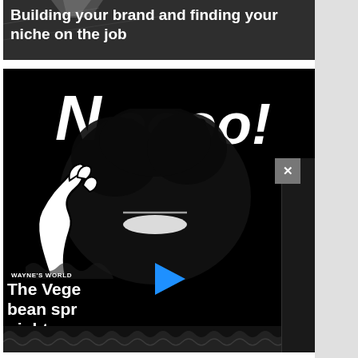[Figure (screenshot): Top banner image showing a building interior with dark overlay and white bold text reading 'Building your brand and finding your niche on the job']
Building your brand and finding your niche on the job
[Figure (screenshot): Video thumbnail/player with black background showing cartoon 'Noooo!' text graphic with a hand illustration, a shadowed face silhouette, a blue play button, WAYNE'S WORLD label, and partial title text 'The Vege... bean spr... nightma...']
WAYNE'S WORLD
The Vege bean spr nightma...